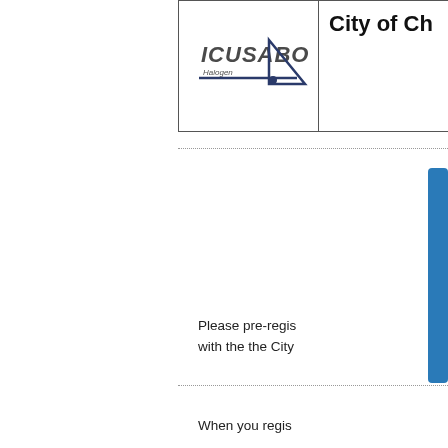[Figure (logo): ICUSABO Halogen brand logo with stylized text and angular swoosh graphic in dark blue/gray]
City of Ch
[Figure (illustration): Partially visible blue figure/person icon on right edge]
Please pre-regis with the the City
When you regis